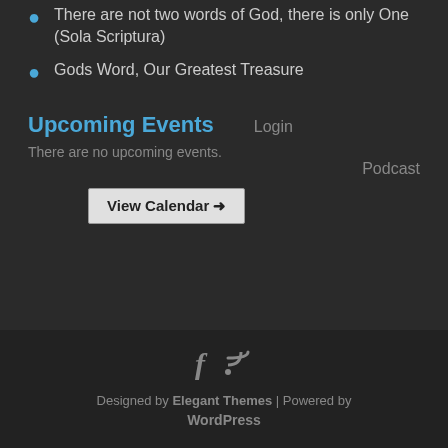There are not two words of God, there is only One (Sola Scriptura)
Gods Word, Our Greatest Treasure
Upcoming Events
Login
There are no upcoming events.
Podcast
View Calendar →
Designed by Elegant Themes | Powered by WordPress